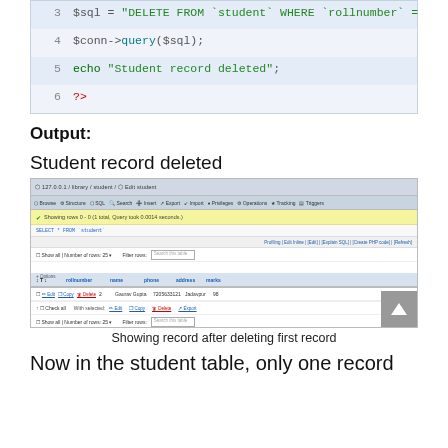[Figure (screenshot): Code block showing PHP DELETE SQL query lines 3-6]
Output:
Student record deleted
[Figure (screenshot): phpMyAdmin showing student table after deleting first record, with one remaining row (rollnumber 2, Gaurav Gupta, 7205633121, Jadavpur, 98)]
Showing record after deleting first record
Now in the student table, only one record